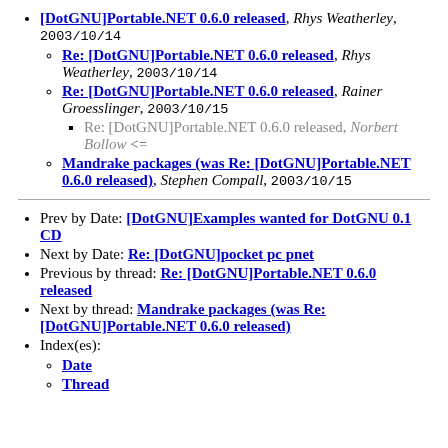[DotGNU]Portable.NET 0.6.0 released, Rhys Weatherley, 2003/10/14
Re: [DotGNU]Portable.NET 0.6.0 released, Rhys Weatherley, 2003/10/14
Re: [DotGNU]Portable.NET 0.6.0 released, Rainer Groesslinger, 2003/10/15
Re: [DotGNU]Portable.NET 0.6.0 released, Norbert Bollow <=
Mandrake packages (was Re: [DotGNU]Portable.NET 0.6.0 released), Stephen Compall, 2003/10/15
Prev by Date: [DotGNU]Examples wanted for DotGNU 0.1 CD
Next by Date: Re: [DotGNU]pocket pc pnet
Previous by thread: Re: [DotGNU]Portable.NET 0.6.0 released
Next by thread: Mandrake packages (was Re: [DotGNU]Portable.NET 0.6.0 released)
Index(es):
Date
Thread